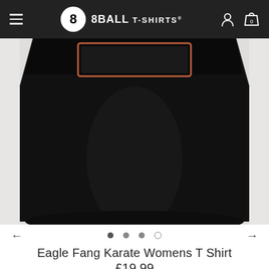[Figure (screenshot): 8Ball T-Shirts website navigation bar with hamburger menu icon, 8-ball logo, brand name '8BALL T-SHIRTS', user account icon, and shopping bag icon with 0 items]
[Figure (photo): Black women's T-shirt (Eagle Fang Karate design) laid flat on light background, showing bottom half of shirt with visible print border at top]
Eagle Fang Karate Womens T Shirt
£19.99